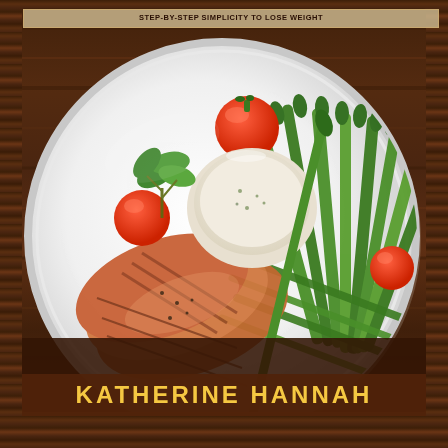STEP-BY-STEP SIMPLICITY TO LOSE WEIGHT
[Figure (photo): Book cover showing a white plate with sliced grilled chicken breast, asparagus and green beans, cherry tomatoes, fresh parsley, and a small white bowl of creamy dip/sauce, on a dark wood grain background]
KATHERINE HANNAH